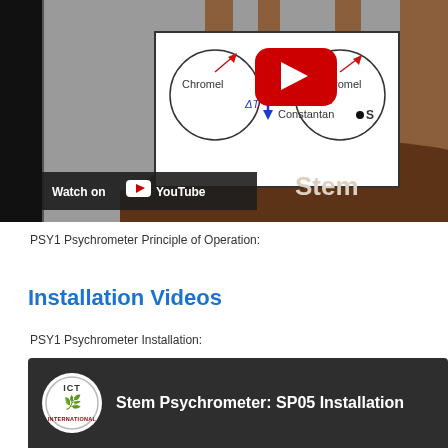[Figure (screenshot): YouTube video thumbnail showing PSY1 Psychrometer diagram with Chromel/Constantan thermocouple junction diagram overlaid on a stem cross-section, with YouTube play button and Watch on YouTube bar visible]
PSY1 Psychrometer Principle of Operation:
Installation Videos
PSY1 Psychrometer Installation:
[Figure (screenshot): YouTube video thumbnail for Stem Psychrometer: SP05 Installation, showing ICT International logo and video title on dark background]